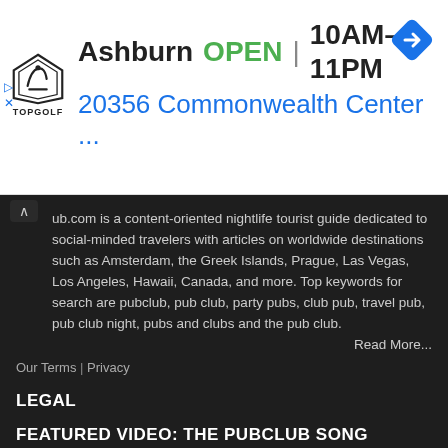[Figure (screenshot): TopGolf advertisement banner showing Ashburn location, OPEN status, hours 10AM-11PM, address 20356 Commonwealth Center..., with TopGolf logo and blue navigation arrow icon]
ub.com is a content-oriented nightlife tourist guide dedicated to social-minded travelers with articles on worldwide destinations such as Amsterdam, the Greek Islands, Prague, Las Vegas, Los Angeles, Hawaii, Canada, and more. Top keywords for search are pubclub, pub club, party pubs, club pub, travel pub, pub club night, pubs and clubs and the pub club.
Read More...
Our Terms | Privacy
LEGAL
FEATURED VIDEO: THE PUBCLUB SONG
The PubClub Song By Evyn Charles!